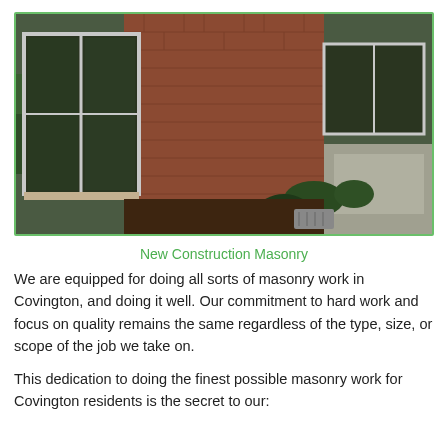[Figure (photo): Side view of a brick building with large white-framed windows and landscaped mulched garden bed along the exterior wall, concrete walkway visible on the right]
New Construction Masonry
We are equipped for doing all sorts of masonry work in Covington, and doing it well. Our commitment to hard work and focus on quality remains the same regardless of the type, size, or scope of the job we take on.
This dedication to doing the finest possible masonry work for Covington residents is the secret to our: